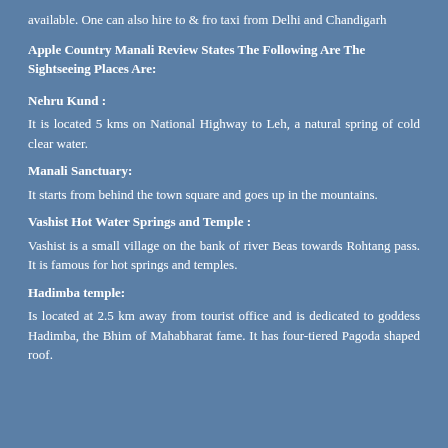available. One can also hire to & fro taxi from Delhi and Chandigarh
Apple Country Manali Review States The Following Are The Sightseeing Places Are:
Nehru Kund :
It is located 5 kms on National Highway to Leh, a natural spring of cold clear water.
Manali Sanctuary:
It starts from behind the town square and goes up in the mountains.
Vashist Hot Water Springs and Temple :
Vashist is a small village on the bank of river Beas towards Rohtang pass. It is famous for hot springs and temples.
Hadimba temple:
Is located at 2.5 km away from tourist office and is dedicated to goddess Hadimba, the Bhim of Mahabharat fame. It has four-tiered Pagoda shaped roof.